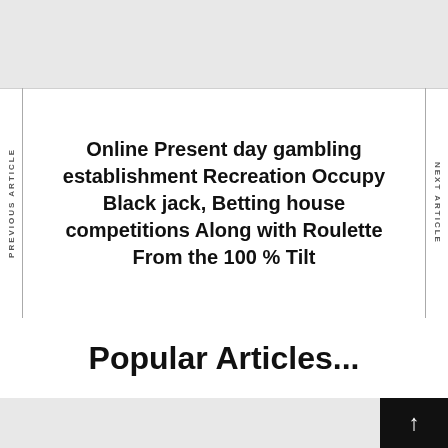[Figure (other): Gray banner/header bar at the top of the page]
PREVIOUS ARTICLE
Online Present day gambling establishment Recreation Occupy Black jack, Betting house competitions Along with Roulette From the 100 % Tilt
NEXT ARTICLE
Popular Articles...
[Figure (other): Gray bar at the bottom left with a black back-to-top button showing an up arrow on the right]